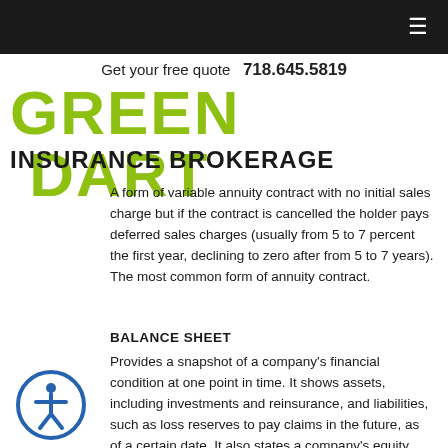Green Dart Insurance Brokerage — Get your free quote 718.645.5819
GREEN DART
INSURANCE BROKERAGE
A form of variable annuity contract with no initial sales charge but if the contract is cancelled the holder pays deferred sales charges (usually from 5 to 7 percent the first year, declining to zero after from 5 to 7 years). The most common form of annuity contract.
BALANCE SHEET
Provides a snapshot of a company's financial condition at one point in time. It shows assets, including investments and reinsurance, and liabilities, such as loss reserves to pay claims in the future, as of a certain date. It also states a company's equity, known as policyholder surplus. Changes in that surplus are one indicator of an